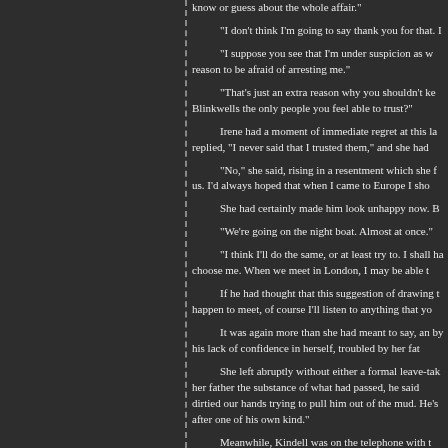know or guess about the whole affair.
"I don't think I'm going to say thank you for that. I
"I suppose you see that I'm under suspicion as w reason to be afraid of arresting me."
"That's just an extra reason why you shouldn't ke Blinkwells the only people you feel able to trust?"
Irene had a moment of immediate regret at this la replied, "I never said that I trusted them," and she had
"No," she said, rising in a resentment which she f us. I'd always hoped that when I came to Europe I sho
She had certainly made him look unhappy now. B
"We're going on the night boat. Almost at once."
"I think I'll do the same, or at least try to. I shall ha choose me. When we meet in London, I may be able t
If he had thought that this suggestion of drawing t happen to meet, of course I'll listen to anything that yo
It was again more than she had meant to say, an by his lack of confidence in herself, troubled by her fat
She left abruptly without either a formal leave-tak her father the substance of what had passed, he said dirtied our hands trying to pull him out of the mud. He's after one of his own kind."
Meanwhile, Kindell was on the telephone with t